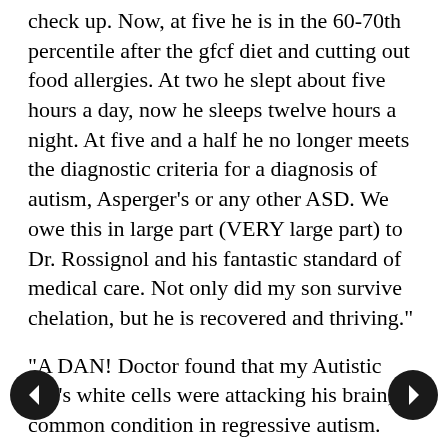check up. Now, at five he is in the 60-70th percentile after the gfcf diet and cutting out food allergies. At two he slept about five hours a day, now he sleeps twelve hours a night. At five and a half he no longer meets the diagnostic criteria for a diagnosis of autism, Asperger's or any other ASD. We owe this in large part (VERY large part) to Dr. Rossignol and his fantastic standard of medical care. Not only did my son survive chelation, but he is recovered and thriving."
"A DAN! Doctor found that my Autistic son's white cells were attacking his brain, a common condition in regressive autism. This doctor stopped that brain autoimmunity in it's tracks and I will be forever grateful. A pediatrician or neurologist would not have